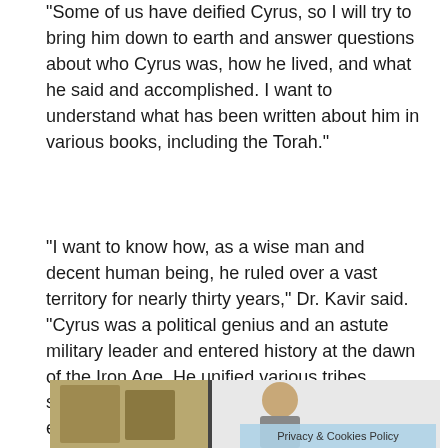“Some of us have deified Cyrus, so I will try to bring him down to earth and answer questions about who Cyrus was, how he lived, and what he said and accomplished. I want to understand what has been written about him in various books, including the Torah.”
“I want to know how, as a wise man and decent human being, he ruled over a vast territory for nearly thirty years,” Dr. Kavir said. “Cyrus was a political genius and an astute military leader and entered history at the dawn of the Iron Age. He unified various tribes scattered throughout the territories of a vast empire, and that was his greatest achievement.”
[Figure (photo): A person speaking at a podium or event, with artwork visible in the background. A 'Privacy & Cookies Policy' banner overlays the bottom-right of the image.]